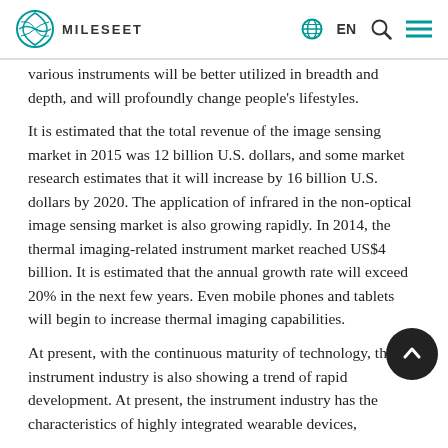MILESEET  EN
various instruments will be better utilized in breadth and depth, and will profoundly change people's lifestyles.
It is estimated that the total revenue of the image sensing market in 2015 was 12 billion U.S. dollars, and some market research estimates that it will increase by 16 billion U.S. dollars by 2020. The application of infrared in the non-optical image sensing market is also growing rapidly. In 2014, the thermal imaging-related instrument market reached US$4 billion. It is estimated that the annual growth rate will exceed 20% in the next few years. Even mobile phones and tablets will begin to increase thermal imaging capabilities.
At present, with the continuous maturity of technology, the instrument industry is also showing a trend of rapid development. At present, the instrument industry has the characteristics of highly integrated wearable devices, diversified imager applications, and increased market demand for high-pixel imagers. Laser rangefinders are also promising in the future.